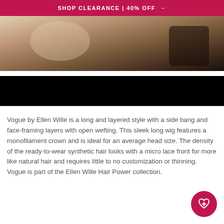SHOP CLEARANCE | 40% OFF →
[Figure (photo): Partial photo of a woman with blonde hair touching her face, wearing a dark lace top, cropped to show upper body. Bottom portion of the image area is a black bar.]
Vogue by Ellen Wille is a long and layered style with a side bang and face-framing layers with open wefting. This sleek long wig features a monofilament crown and is ideal for an average head size. The density of the ready-to-wear synthetic hair looks with a micro lace front for more like natural hair and requires little to no customization or thinning. Vogue is part of the Ellen Wille Hair Power collection.